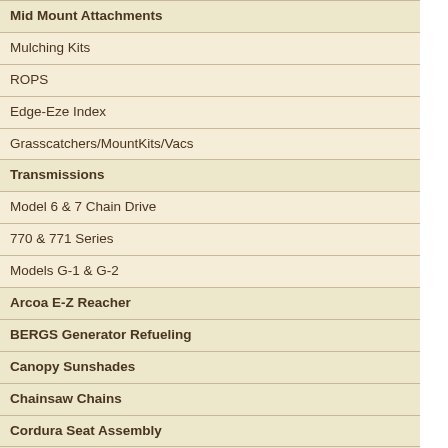Mid Mount Attachments
Mulching Kits
ROPS
Edge-Eze Index
Grasscatchers/MountKits/Vacs
Transmissions
Model 6 & 7 Chain Drive
770 & 771 Series
Models G-1 & G-2
Arcoa E-Z Reacher
BERGS Generator Refueling
Canopy Sunshades
Chainsaw Chains
Cordura Seat Assembly
Customer Comments
Discharge Control Kit
"Duckbill" Dust Ejector Valve
GatorLine Trimmer Line
Gift Shop
Gorilla-Lift Tailgate Assist